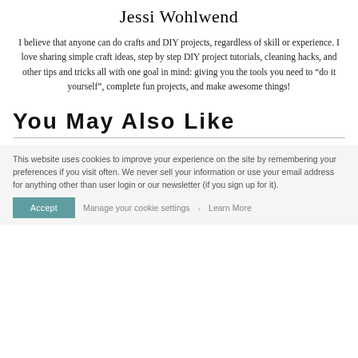Jessi Wohlwend
I believe that anyone can do crafts and DIY projects, regardless of skill or experience. I love sharing simple craft ideas, step by step DIY project tutorials, cleaning hacks, and other tips and tricks all with one goal in mind: giving you the tools you need to “do it yourself”, complete fun projects, and make awesome things!
You May Also Like
This website uses cookies to improve your experience on the site by remembering your preferences if you visit often. We never sell your information or use your email address for anything other than user login or our newsletter (if you sign up for it).
Accept   Manage your cookie settings   Learn More